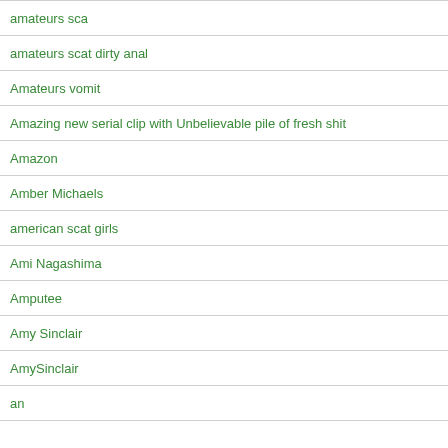amateurs sca
amateurs scat dirty anal
Amateurs vomit
Amazing new serial clip with Unbelievable pile of fresh shit
Amazon
Amber Michaels
american scat girls
Ami Nagashima
Amputee
Amy Sinclair
AmySinclair
an